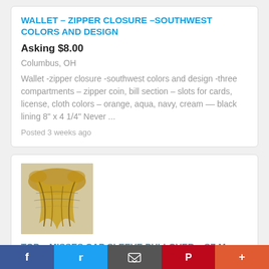WALLET - ZIPPER CLOSURE -SOUTHWEST COLORS AND DESIGN
Asking $8.00
Columbus, OH
Wallet -zipper closure -southwest colors and design -three compartments - zipper coin, bill section - slots for cards, license, cloth colors - orange, aqua, navy, cream -- black lining 8" x 4 1/4" Never ...
Posted 3 weeks ago
[Figure (photo): Thumbnail photo of a colorful drape/top garment with yellow, gold, and brown tones]
TOP - MISSES CAP SLEEVE PULLOVER - SZ M - WORTHINGTON
Asking $13.00
f  Twitter  [email icon]  P  +